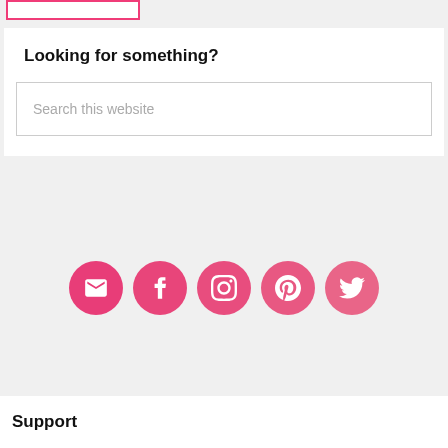[Figure (other): Pink outlined rectangle in the top-left corner, partially visible]
Looking for something?
Search this website
[Figure (other): Row of five pink circular social media icons: email, Facebook, Instagram, Pinterest, Twitter]
Support